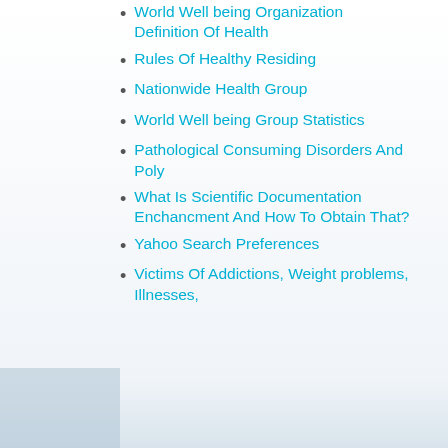World Well being Organization Definition Of Health
Rules Of Healthy Residing
Nationwide Health Group
World Well being Group Statistics
Pathological Consuming Disorders And Poly
What Is Scientific Documentation Enchancment And How To Obtain That?
Yahoo Search Preferences
Victims Of Addictions, Weight problems, Illnesses,